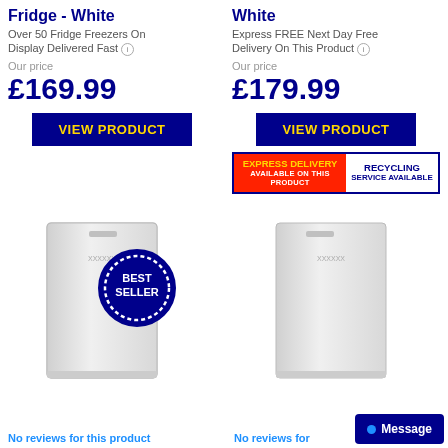Fridge - White
Over 50 Fridge Freezers On Display Delivered Fast
Our price
£169.99
VIEW PRODUCT
White
Express FREE Next Day Free Delivery On This Product
Our price
£179.99
VIEW PRODUCT
[Figure (infographic): Express Delivery Available On This Product | Recycling Service Available banner]
[Figure (photo): White under-counter fridge with Best Seller badge overlay]
[Figure (photo): White under-counter fridge]
No reviews for this product
No reviews for
Message